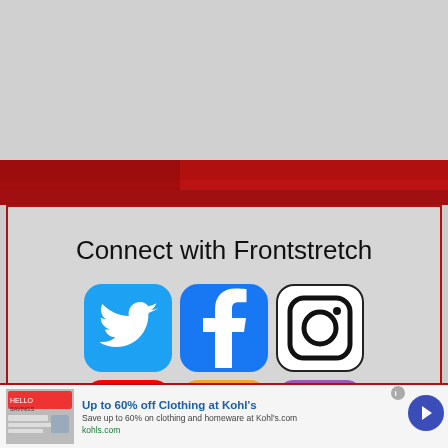[Figure (screenshot): Gray top advertisement placeholder area]
[Figure (photo): Red NASCAR racetrack banner image strip]
Connect with Frontstretch
[Figure (infographic): Social media icons: Twitter (blue bird), Facebook (blue f), Instagram (black outline camera), YouTube (red play button), RSS (orange feed), Podcasts (purple microphone)]
Up to 60% off Clothing at Kohl's
Save up to 60% on clothing and homeware at Kohl's.com
kohls.com